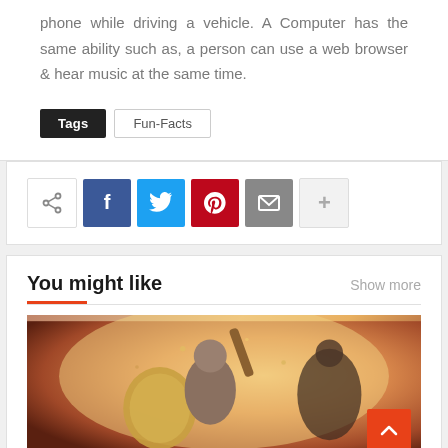phone while driving a vehicle. A Computer has the same ability such as, a person can use a web browser & hear music at the same time.
Tags   Fun-Facts
[Figure (infographic): Social share bar with icons: share, Facebook (f), Twitter (bird), Pinterest (p), Email (envelope), More (+)]
You might like
Show more
[Figure (photo): Game artwork showing a warrior (Kratos from God of War) in battle with a shield and weapon, fighting against a monster, warm fiery background.]